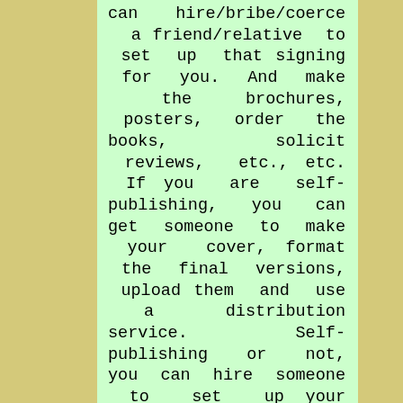can hire/bribe/coerce a friend/relative to set up that signing for you. And make the brochures, posters, order the books, solicit reviews, etc., etc. If you are self-publishing, you can get someone to make your cover, format the final versions, upload them and use a distribution service. Self-publishing or not, you can hire someone to set up your website, maintain it, and set up your blog.
Yes, this takes money. Over the years, I've noticed that the people who have made it good as self-published writers, most of them, spent quite a bit of money promoting themselves. Now, even those who are published by the